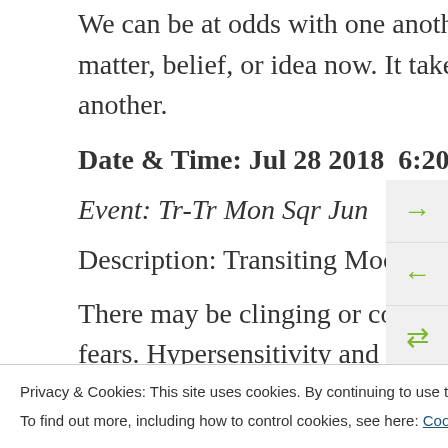We can be at odds with one another over a mental or intellectual matter, belief, or idea now. It takes extra effort to understand one another.
Date & Time: Jul 28 2018  6:20 am
Event: Tr-Tr Mon Sqr Jun
Description: Transiting Moon Square Transiting Juno
There may be clinging or controlling behavior if we are driven by our fears. Hypersensitivity and
Privacy & Cookies: This site uses cookies. By continuing to use this website, you agree to their use.
To find out more, including how to control cookies, see here: Cookie Policy